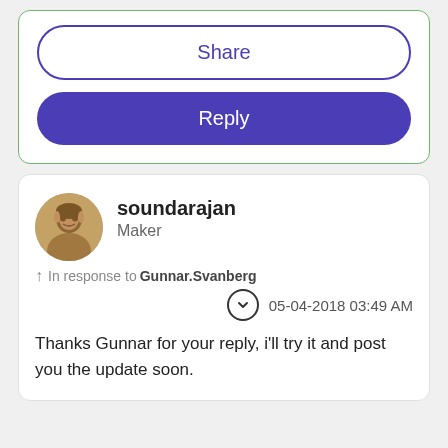Share
Reply
soundarajan
Maker
In response to Gunnar.Svanberg
05-04-2018 03:49 AM
Thanks Gunnar for your reply, i'll try it and post you the update soon.